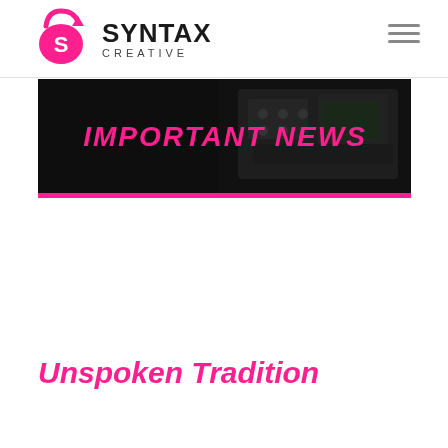SYNTAX CREATIVE
[Figure (photo): Dark background photo of audio/music studio equipment with text overlay IMPORTANT NEWS in pink italic bold letters, with a pink border at the bottom]
Unspoken Tradition